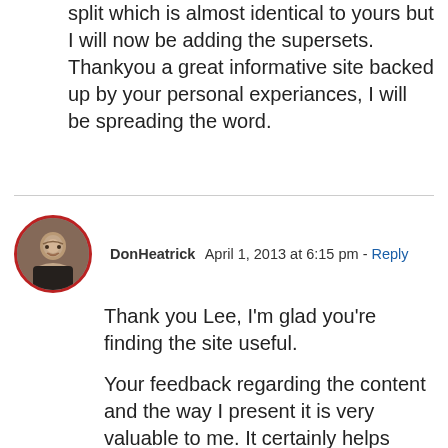split which is almost identical to yours but I will now be adding the supersets. Thankyou a great informative site backed up by your personal experiances, I will be spreading the word.
DonHeatrick  April 1, 2013 at 6:15 pm - Reply
[Figure (photo): Avatar photo of DonHeatrick, a man smiling, circular crop with red border]
Thank you Lee, I'm glad you're finding the site useful.

Your feedback regarding the content and the way I present it is very valuable to me. It certainly helps validate my mission and will shape the way I approach my writing in the future.